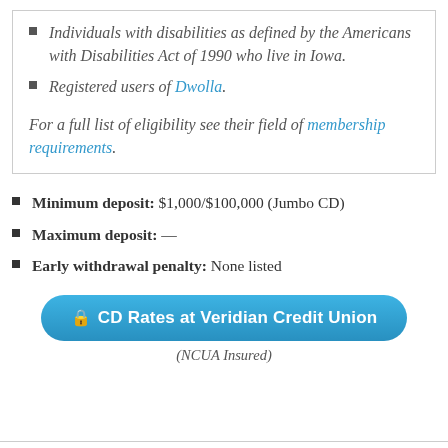Individuals with disabilities as defined by the Americans with Disabilities Act of 1990 who live in Iowa.
Registered users of Dwolla.
For a full list of eligibility see their field of membership requirements.
Minimum deposit: $1,000/$100,000 (Jumbo CD)
Maximum deposit: —
Early withdrawal penalty: None listed
CD Rates at Veridian Credit Union
(NCUA Insured)